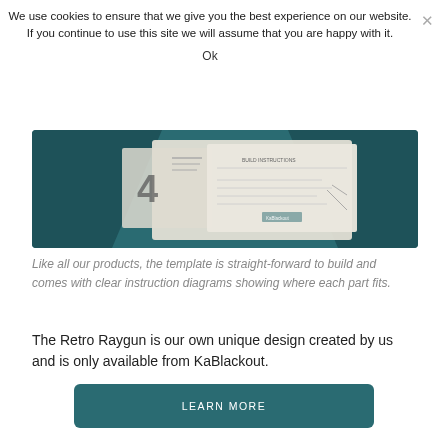We use cookies to ensure that we give you the best experience on our website. If you continue to use this site we will assume that you are happy with it.
Ok
[Figure (photo): Product template photo showing paper templates arranged on a teal/dark green background, with a number '4' visible and a printed instruction sheet.]
Like all our products, the template is straight-forward to build and comes with clear instruction diagrams showing where each part fits.
The Retro Raygun is our own unique design created by us and is only available from KaBlackout.
LEARN MORE